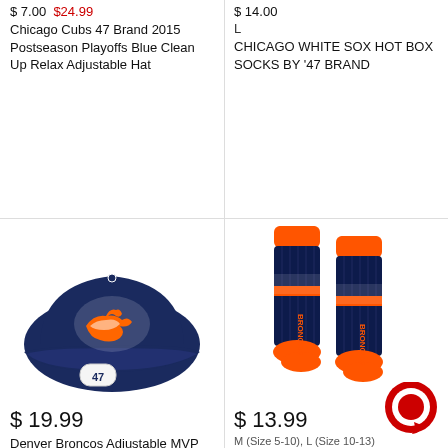$ 7.00  $24.99
Chicago Cubs 47 Brand 2015 Postseason Playoffs Blue Clean Up Relax Adjustable Hat
$ 14.00
L
CHICAGO WHITE SOX HOT BOX SOCKS BY '47 BRAND
[Figure (photo): Denver Broncos navy blue adjustable MVP hat with orange and white Broncos logo and 47 brand tag]
$ 19.99
Denver Broncos Adjustable MVP Hat By 47 Brand
[Figure (photo): Denver Broncos navy blue socks with orange accents, Broncos logo, and BRONCOS text along the side]
$ 13.99
M (Size 5-10), L (Size 10-13)
Denver Broncos Bolt  By '47 Brand